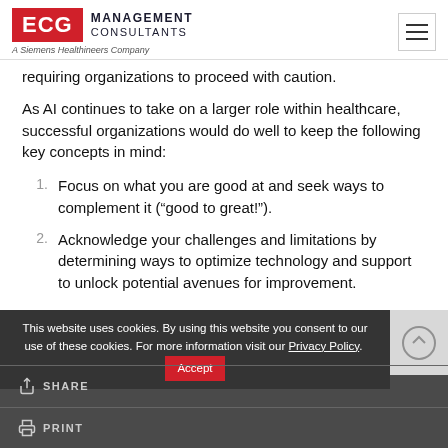ECG Management Consultants - A Siemens Healthineers Company
requiring organizations to proceed with caution.
As AI continues to take on a larger role within healthcare, successful organizations would do well to keep the following key concepts in mind:
1. Focus on what you are good at and seek ways to complement it (“good to great!”).
2. Acknowledge your challenges and limitations by determining ways to optimize technology and support to unlock potential avenues for improvement.
This website uses cookies. By using this website you consent to our use of these cookies. For more information visit our Privacy Policy. Accept
SHARE | PRINT